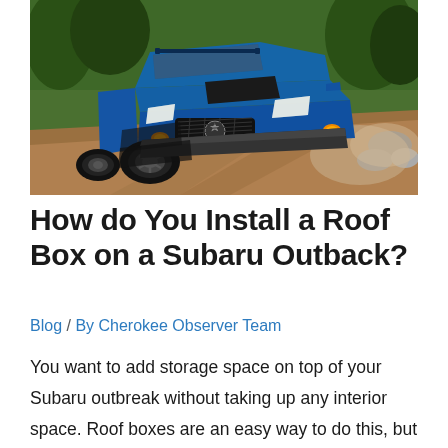[Figure (photo): Blue Subaru Outback Wilderness driving on a rocky dirt trail, front three-quarter view, with trees and dust in the background]
How do You Install a Roof Box on a Subaru Outback?
Blog / By Cherokee Observer Team
You want to add storage space on top of your Subaru outbreak without taking up any interior space. Roof boxes are an easy way to do this, but you need to install them correctly. A roof box